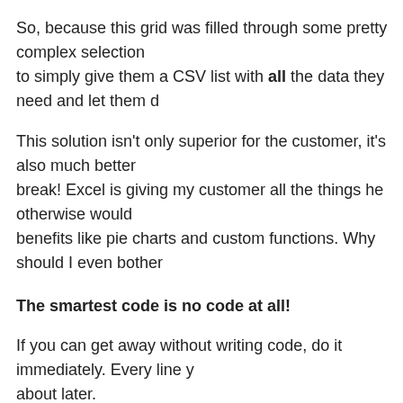So, because this grid was filled through some pretty complex selection to simply give them a CSV list with all the data they need and let them d…
This solution isn't only superior for the customer, it's also much better break! Excel is giving my customer all the things he otherwise would benefits like pie charts and custom functions. Why should I even bother…
The smartest code is no code at all!
If you can get away without writing code, do it immediately. Every line y… about later.
Filed under net, programmierung
Subnetting is good
Still on the train from Vienna to Klagenfurt. I'm listening to RunAs radi…